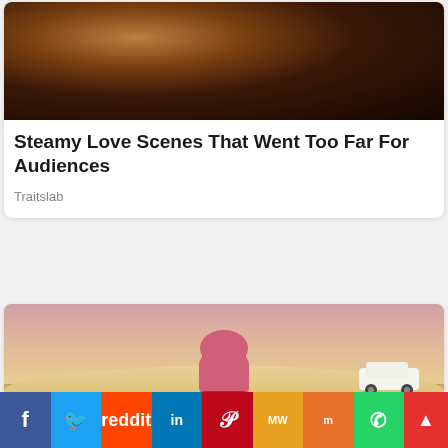[Figure (photo): Close-up photo of dark-skinned figures, blurred/intimate scene]
Steamy Love Scenes That Went Too Far For Audiences
Traitslab
[Figure (photo): Woman in red patterned outfit and pink headscarf posing in desert landscape with SUV in background]
Her Waist Is Trim And Toned, Making Her The